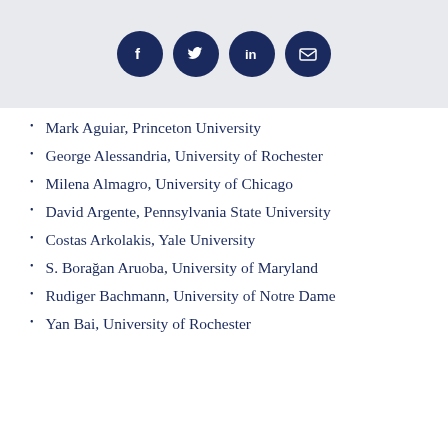[Figure (other): Social media icon buttons: Facebook, Twitter, LinkedIn, Email — dark navy circles on a light grey header bar]
Mark Aguiar, Princeton University
George Alessandria, University of Rochester
Milena Almagro, University of Chicago
David Argente, Pennsylvania State University
Costas Arkolakis, Yale University
S. Borağan Aruoba, University of Maryland
Rudiger Bachmann, University of Notre Dame
Yan Bai, University of Rochester